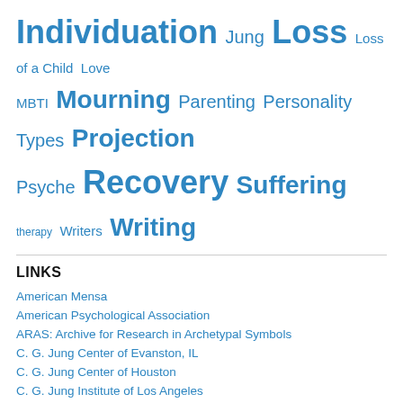Individuation Jung Loss Loss of a Child Love MBTI Mourning Parenting Personality Types Projection Psyche Recovery Suffering therapy Writers Writing
LINKS
American Mensa
American Psychological Association
ARAS: Archive for Research in Archetypal Symbols
C. G. Jung Center of Evanston, IL
C. G. Jung Center of Houston
C. G. Jung Institute of Los Angeles
C. G. Jung Society of Melbourne
C. G. Jung Society of N.Y.
C. G. Jung Society of North Texas
Catechism of the Catholic Church